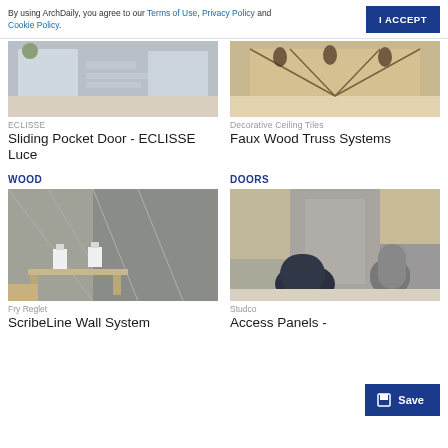By using ArchDaily, you agree to our Terms of Use, Privacy Policy and Cookie Policy.
I ACCEPT
[Figure (photo): Interior photo of a sliding pocket door — ECLISSE Luce]
ECLISSE
Sliding Pocket Door - ECLISSE Luce
[Figure (photo): Interior photo of decorative ceiling with faux wood truss systems and chandeliers]
Decorative Ceiling Tiles
Faux Wood Truss Systems
WOOD
DOORS
[Figure (photo): Hotel lobby interior with patterned wall panels — Fry Reglet ScribeLine Wall System]
Fry Reglet
ScribeLine Wall System
[Figure (photo): Access panel in wall with designer chairs in foreground — Studco Access Panels]
Studco
Access Panels -
Save